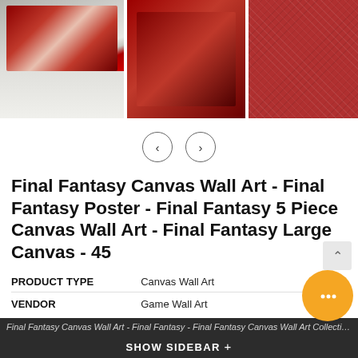[Figure (photo): Three product images of Final Fantasy canvas wall art: first shows multi-panel canvas on a desk wall background, second shows the artwork closer up on a wall, third shows red canvas texture closeup.]
[Figure (infographic): Navigation arrows (left and right) for image carousel]
Final Fantasy Canvas Wall Art - Final Fantasy Poster - Final Fantasy 5 Piece Canvas Wall Art - Final Fantasy Large Canvas - 45
| PRODUCT TYPE | Canvas Wall Art |
| VENDOR | Game Wall Art |
Final Fantasy Canvas Wall Art - Final Fantasy - Final Fantasy Canvas Wall Art Collection. This multi-piece canvas set will grab your walls call All wood can ...
SHOW SIDEBAR +